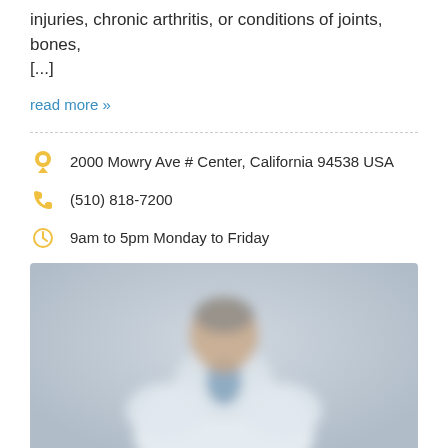injuries, chronic arthritis, or conditions of joints, bones, [...]
read more »
2000 Mowry Ave # Center, California 94538 USA
(510) 818-7200
9am to 5pm Monday to Friday
[Figure (photo): Blurred photo of a doctor in a white coat against a grey background]